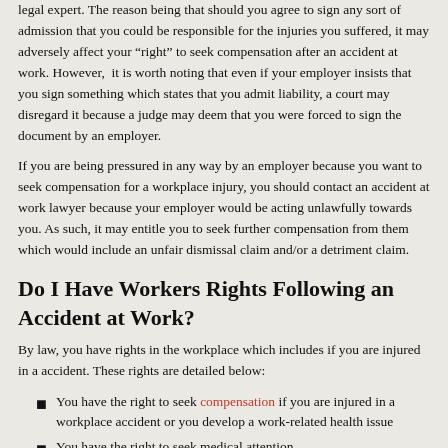legal expert. The reason being that should you agree to sign any sort of admission that you could be responsible for the injuries you suffered, it may adversely affect your "right" to seek compensation after an accident at work. However, it is worth noting that even if your employer insists that you sign something which states that you admit liability, a court may disregard it because a judge may deem that you were forced to sign the document by an employer.
If you are being pressured in any way by an employer because you want to seek compensation for a workplace injury, you should contact an accident at work lawyer because your employer would be acting unlawfully towards you. As such, it may entitle you to seek further compensation from them which would include an unfair dismissal claim and/or a detriment claim.
Do I Have Workers Rights Following an Accident at Work?
By law, you have rights in the workplace which includes if you are injured in a accident. These rights are detailed below:
You have the right to seek compensation if you are injured in a workplace accident or you develop a work-related health issue
You have the right to seek medical attention